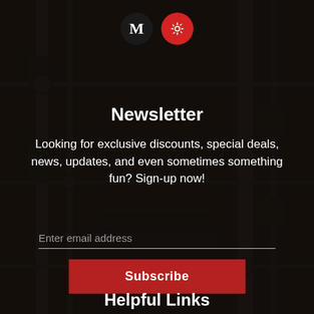[Figure (illustration): Dark industrial background with machinery/pipes visible, overlaid with dark semi-transparent overlay. Two social media icons at top: a black circle with letter M and a red circle with Yelp burst logo.]
Newsletter
Looking for exclusive discounts, special deals, news, updates, and even sometimes something fun? Sign-up now!
Enter email address
Subscribe
Helpful Links